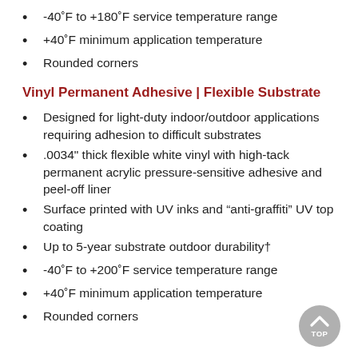-40˚F to +180˚F service temperature range
+40˚F minimum application temperature
Rounded corners
Vinyl Permanent Adhesive | Flexible Substrate
Designed for light-duty indoor/outdoor applications requiring adhesion to difficult substrates
.0034" thick flexible white vinyl with high-tack permanent acrylic pressure-sensitive adhesive and peel-off liner
Surface printed with UV inks and “anti-graffiti” UV top coating
Up to 5-year substrate outdoor durability†
-40˚F to +200˚F service temperature range
+40˚F minimum application temperature
Rounded corners